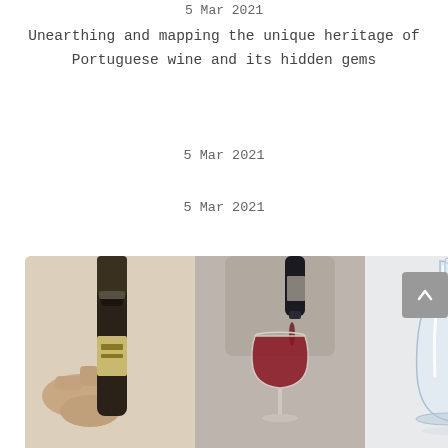5 Mar 2021
Unearthing and mapping the unique heritage of Portuguese wine and its hidden gems
5 Mar 2021
5 Mar 2021
[Figure (photo): A collage of five wine-related photographs: (1) a hand opening a wine bottle capsule, (2) a wine glass with red wine being poured, (3) a glass wine decanter, (4) two champagne flutes being clinked, (5) a wine rack with multiple bottles stored horizontally. A grey scroll-up button appears on the right side.]